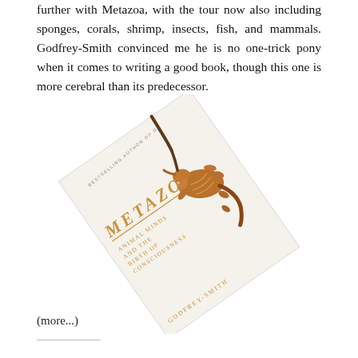further with Metazoa, with the tour now also including sponges, corals, shrimp, insects, fish, and mammals. Godfrey-Smith convinced me he is no one-trick pony when it comes to writing a good book, though this one is more cerebral than its predecessor.
[Figure (photo): Book cover of 'Metazoa: Animal Minds and the Birth of Consciousness' by Godfrey-Smith, shown at a diagonal angle with a sea creature (weedy sea dragon) on the cover. The cover is white/cream with gold lettering and 'BESTSELLING AUTHOR OF' text at top.]
(more...)